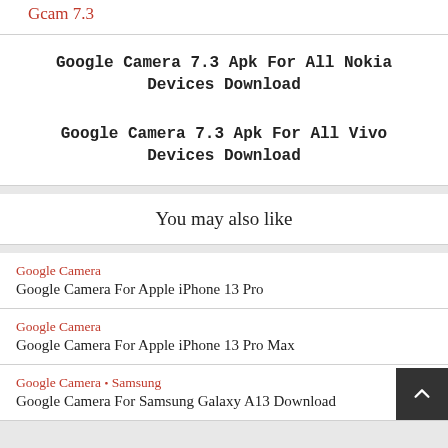Gcam 7.3
Google Camera 7.3 Apk For All Nokia Devices Download
Google Camera 7.3 Apk For All Vivo Devices Download
You may also like
Google Camera
Google Camera For Apple iPhone 13 Pro
Google Camera
Google Camera For Apple iPhone 13 Pro Max
Google Camera · Samsung
Google Camera For Samsung Galaxy A13 Download